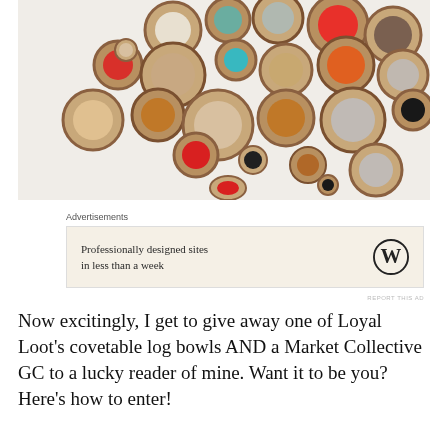[Figure (photo): Overhead view of colorful ceramic log bowls arranged together — small bowls in various colors (red, yellow, teal, gray, cream, orange, green, black, peach) nestled in cork or wood cylinders on a white surface.]
Advertisements
[Figure (other): WordPress advertisement banner with cream background. Text reads: 'Professionally designed sites in less than a week'. WordPress logo (W in circle) on right side.]
REPORT THIS AD
Now excitingly, I get to give away one of Loyal Loot's covetable log bowls AND a Market Collective GC to a lucky reader of mine. Want it to be you? Here's how to enter!